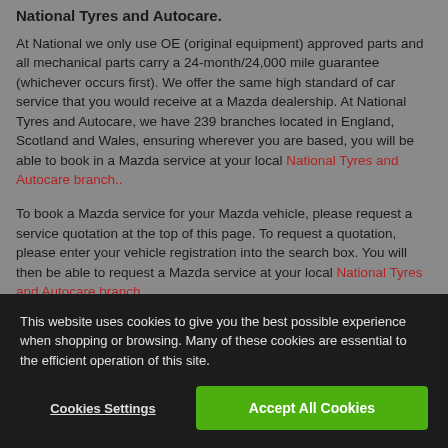National Tyres and Autocare.
At National we only use OE (original equipment) approved parts and all mechanical parts carry a 24-month/24,000 mile guarantee (whichever occurs first). We offer the same high standard of car service that you would receive at a Mazda dealership. At National Tyres and Autocare, we have 239 branches located in England, Scotland and Wales, ensuring wherever you are based, you will be able to book in a Mazda service at your local National Tyres and Autocare branch..
To book a Mazda service for your Mazda vehicle, please request a service quotation at the top of this page. To request a quotation, please enter your vehicle registration into the search box. You will then be able to request a Mazda service at your local National Tyres and Autocare branch.
This website uses cookies to give you the best possible experience when shopping or browsing. Many of these cookies are essential to the efficient operation of this site.
Cookies Settings
Accept All Cookies